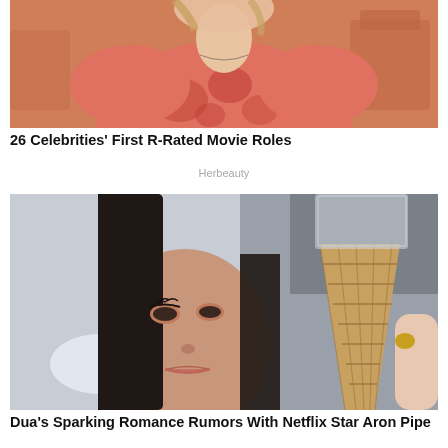[Figure (photo): Woman in a coral/orange floral top sitting in a restaurant-like setting with orange chairs in background]
26 Celebrities’ First R-Rated Movie Roles
Herbeauty
[Figure (photo): Young woman with long dark hair looking upward, holding an ice cream cone in a waffle cone with gold-nailed hand beside her face]
Dua’s Sparking Romance Rumors With Netflix Star Aron Pipe